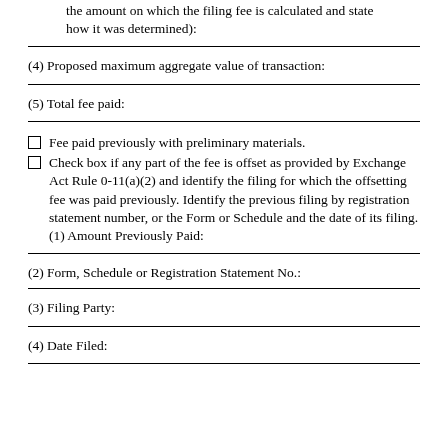the amount on which the filing fee is calculated and state how it was determined):
(4) Proposed maximum aggregate value of transaction:
(5) Total fee paid:
Fee paid previously with preliminary materials.
Check box if any part of the fee is offset as provided by Exchange Act Rule 0-11(a)(2) and identify the filing for which the offsetting fee was paid previously. Identify the previous filing by registration statement number, or the Form or Schedule and the date of its filing.
(1) Amount Previously Paid:
(2) Form, Schedule or Registration Statement No.:
(3) Filing Party:
(4) Date Filed: